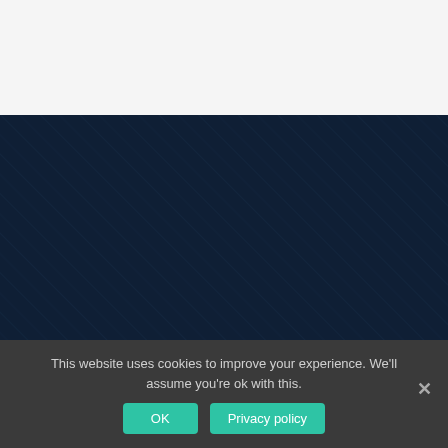[Figure (illustration): White/light gray top section of a webpage, approximately the upper quarter of the page.]
[Figure (illustration): Dark navy blue background with diagonal striped lines pattern in slightly lighter blue, occupying the middle portion of the page.]
This website uses cookies to improve your experience. We'll assume you're ok with this.